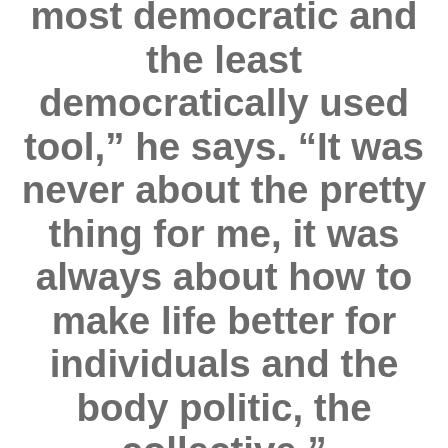most democratic and the least democratically used tool,” he says. “It was never about the pretty thing for me, it was always about how to make life better for individuals and the body politic, the collective.”